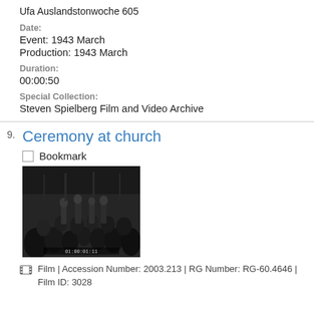Ufa Auslandstonwoche 605
Date:
Event: 1943 March
Production: 1943 March
Duration:
00:00:50
Special Collection:
Steven Spielberg Film and Video Archive
9. Ceremony at church
Bookmark
[Figure (photo): Black and white still frame from a film showing a group of people seated in what appears to be a church ceremony. Timestamp 01:00:01:11 visible at bottom.]
Film | Accession Number: 2003.213 | RG Number: RG-60.4646 | Film ID: 3028